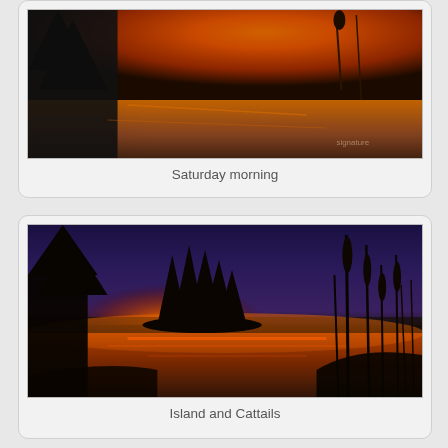[Figure (photo): A dramatic sunset/sunrise photo with silhouetted evergreen trees on the left against a vibrant orange and red sky with reflections on water]
Saturday morning
[Figure (photo): A sunrise photo over a misty lake with silhouetted pine trees in the center and cattail plants on the right, glowing orange light reflected on the water with morning mist]
Island and Cattails